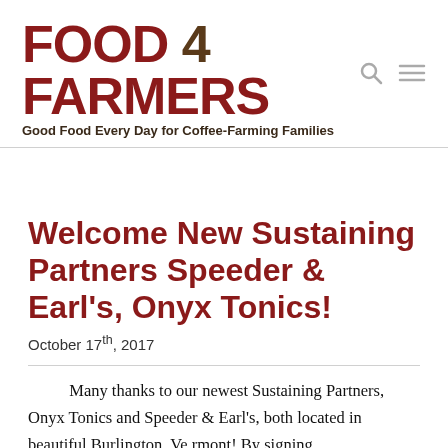FOOD 4 FARMERS — Good Food Every Day for Coffee-Farming Families
Welcome New Sustaining Partners Speeder & Earl's, Onyx Tonics!
October 17th, 2017
Many thanks to our newest Sustaining Partners, Onyx Tonics and Speeder & Earl's, both located in beautiful Burlington, Vermont! By signing